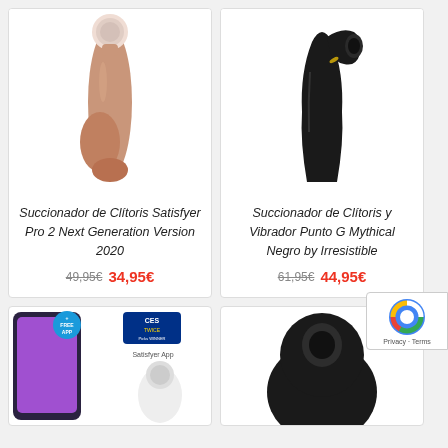[Figure (photo): Satisfyer Pro 2 Next Generation Version 2020 - rose gold clitoral stimulator]
Succionador de Clítoris Satisfyer Pro 2 Next Generation Version 2020
49,95€  34,95€
[Figure (photo): Succionador de Clítoris y Vibrador Punto G Mythical Negro by Irresistible - black product]
Succionador de Clítoris y Vibrador Punto G Mythical Negro by Irresistible
61,95€  44,95€
[Figure (photo): Bottom left card showing smartphone app with FREE APP and CES award badge, and a white Satisfyer device]
[Figure (photo): Bottom right card showing a black clitoral stimulator device]